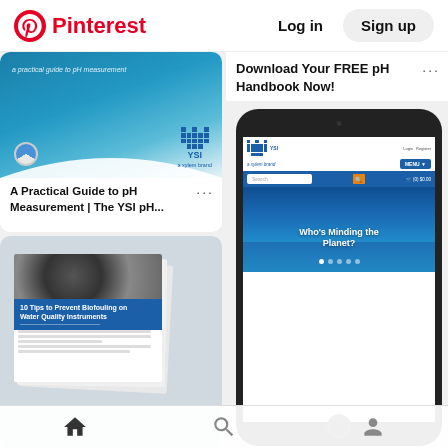Pinterest  Log in  Sign up
[Figure (screenshot): Pinterest pin card showing cover of 'A Practical Guide to pH Measurement' with YSI and globe logos on teal/blue background]
A Practical Guide to pH Measurement | The YSI pH...
[Figure (screenshot): Pinterest pin card showing stacked booklet pages with '10 Tips to Prevent Biofouling on Water Quality Instruments' cover]
Download Your FREE pH Handbook Now!
[Figure (screenshot): Screenshot of YSI website (a xylem brand) displayed on a smartphone/phone mockup, showing the homepage with 'Who's Minding the Planet?' hero section with divers]